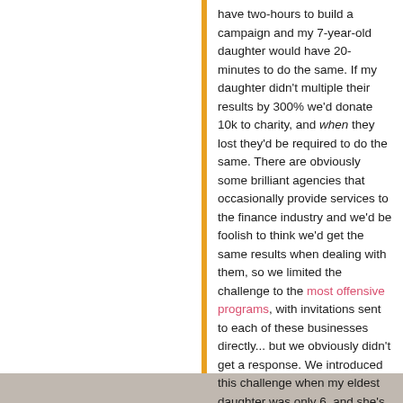have two-hours to build a campaign and my 7-year-old daughter would have 20-minutes to do the same. If my daughter didn't multiple their results by 300% we'd donate 10k to charity, and when they lost they'd be required to do the same. There are obviously some brilliant agencies that occasionally provide services to the finance industry and we'd be foolish to think we'd get the same results when dealing with them, so we limited the challenge to the most offensive programs, with invitations sent to each of these businesses directly... but we obviously didn't get a response. We introduced this challenge when my eldest daughter was only 6, and she's nearly 8, so we'll be putting this program to bed shortly simply because it has become clear that we're not going to attract any participants. Certainly, integrating your marketing funnel, or lack of integration, is a defining feature of mediocrity. If the same Best Interest duty expected of the finance industry was applied